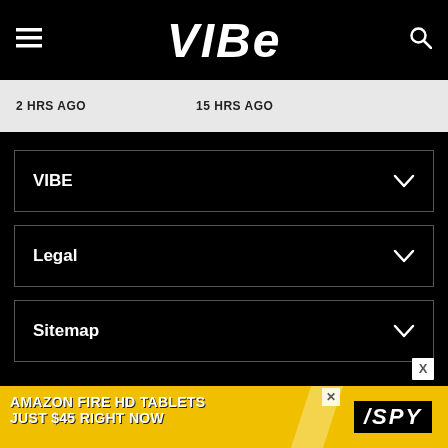VIBE
2 HRS AGO   15 HRS AGO
VIBE
Legal
Sitemap
Connect with Us
Get our latest stories in the feed of your favorite networks
[Figure (other): Advertisement banner: AMAZON FIRE HD TABLETS JUST $45 RIGHT NOW — SPY logo, yellow background with white diagonal stripe]